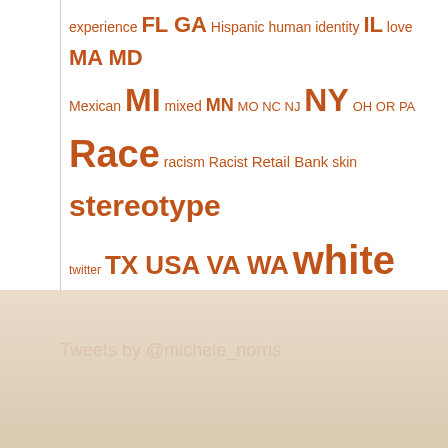[Figure (infographic): Word cloud in orange text featuring terms related to race and identity: experience FL GA Hispanic human identity IL love MA MD Mexican MI mixed MN MO NC NJ NY OH OR PA Race racism Racist Retail Bank skin stereotype twitter TX USA VA WA white. Words vary in size to indicate frequency/importance.]
Tweets by @michele_norris
[Figure (photo): Faded beige/tan textured background image in the lower half of the page, appearing to show a faint watermark or map-like pattern.]